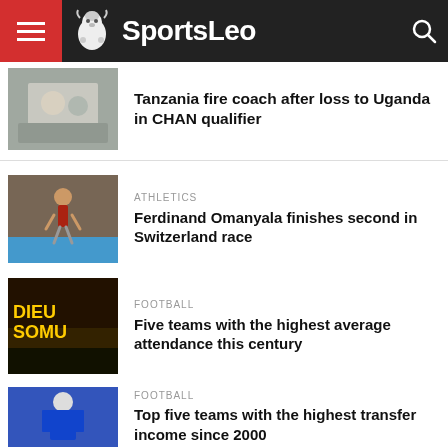SportsLeo
Tanzania fire coach after loss to Uganda in CHAN qualifier
ATHLETICS
Ferdinand Omanyala finishes second in Switzerland race
FOOTBALL
Five teams with the highest average attendance this century
FOOTBALL
Top five teams with the highest transfer income since 2000